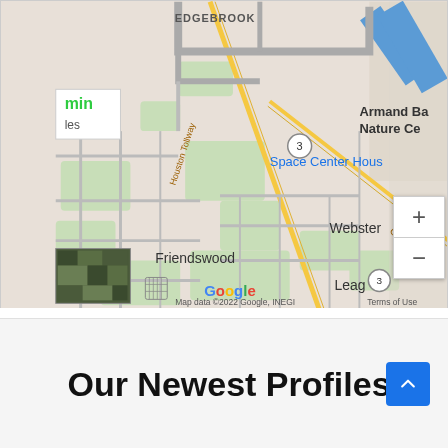[Figure (map): Google Maps screenshot showing Friendswood, Webster, Edgebrook, Space Center Houston, Armand Bay Nature Center areas near Houston, Texas. Shows Gulf Fwy, Houston Tollway, and route 3. Map data ©2022 Google, INEGI. Includes zoom controls (+/-) and satellite thumbnail.]
Our Newest Profiles